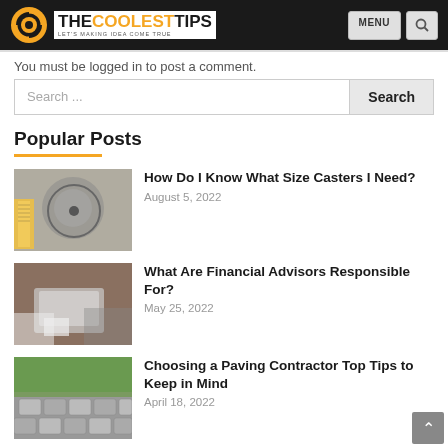THE COOLEST TIPS | LET'S MAKING IDEA COME TRUE
You must be logged in to post a comment.
Search ...
Popular Posts
[Figure (photo): A caster wheel being measured with a yellow tape measure]
How Do I Know What Size Casters I Need?
August 5, 2022
[Figure (photo): Person at desk with laptop, coffee, and documents about financial advising]
What Are Financial Advisors Responsible For?
May 25, 2022
[Figure (photo): Paving stones on a garden path with green grass border]
Choosing a Paving Contractor Top Tips to Keep in Mind
April 18, 2022
[Figure (photo): Partial view of windows article thumbnail]
Windows Can Also Develop